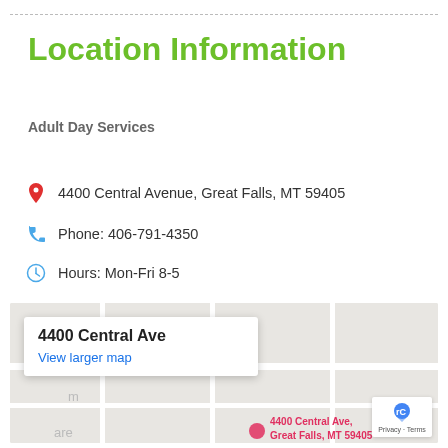Location Information
Adult Day Services
4400 Central Avenue, Great Falls, MT 59405
Phone: 406-791-4350
Hours: Mon-Fri 8-5
[Figure (map): Google map showing 4400 Central Ave, Great Falls, MT 59405 with a popup tooltip and 'View larger map' link]